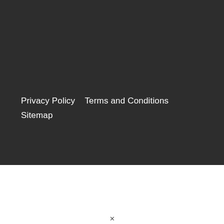Privacy Policy    Terms and Conditions
Sitemap